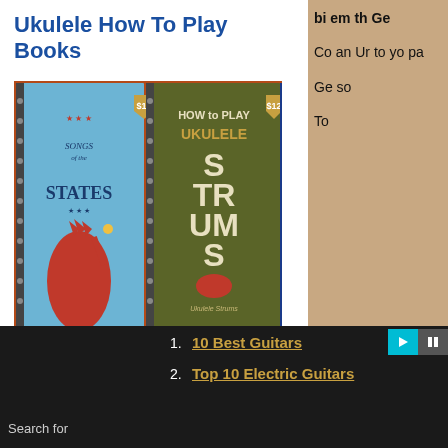Ukulele How To Play Books
[Figure (photo): Collage of ukulele how-to-play book covers including 'Songs of the States', 'How to Play Ukulele Strums', 'How to Play Slide Ukulele', 'How to National Anthem', and 'How to Play' book. Price tags of $12 and $7 visible.]
By Al Wood
Co an Ur to yo pa
Ge so
To
Search for
1. 10 Best Guitars
2. Top 10 Electric Guitars